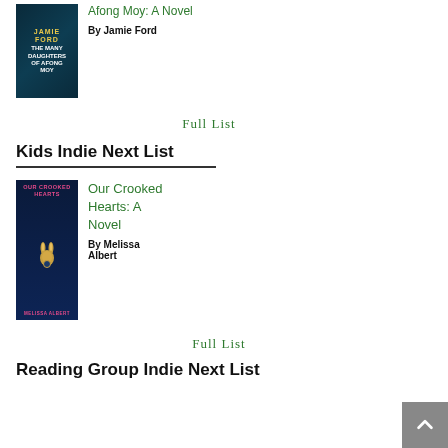[Figure (illustration): Book cover: The Many Daughters of Afong Moy by Jamie Ford — dark teal background with author name in gold and title in white text]
Afong Moy: A Novel
By Jamie Ford
Full List
Kids Indie Next List
[Figure (illustration): Book cover: Our Crooked Hearts: A Novel by Melissa Albert — dark navy blue background with pink title text and a golden rabbit/hare figure]
Our Crooked Hearts: A Novel
By Melissa Albert
Full List
Reading Group Indie Next List